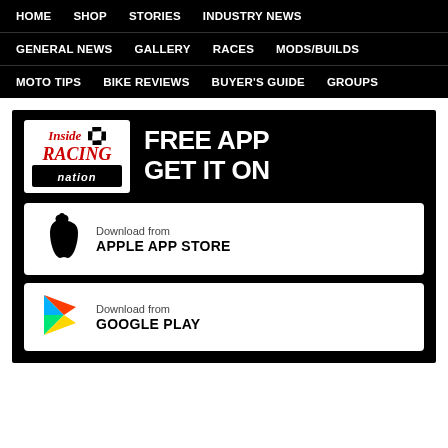HOME  SHOP  STORIES  INDUSTRY NEWS
GENERAL NEWS  GALLERY  RACES  MODS/BUILDS
MOTO TIPS  BIKE REVIEWS  BUYER'S GUIDE  GROUPS
[Figure (logo): Inside Racing Nation logo with checkered flag, white background]
FREE APP GET IT ON
Download from APPLE APP STORE
Download from GOOGLE PLAY